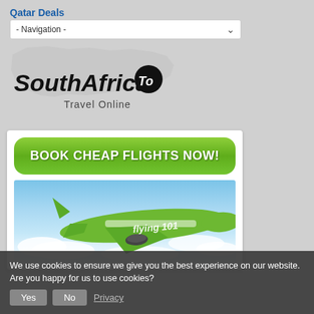Qatar Deals
- Navigation -
[Figure (logo): SouthAfrica.To Travel Online logo with map silhouette of South Africa]
[Figure (infographic): Advertisement banner: green rounded button labeled BOOK CHEAP FLIGHTS NOW! above a photo of a green passenger aircraft (flying 101 livery) in flight through clouds]
We use cookies to ensure we give you the best experience on our website. Are you happy for us to use cookies? Yes No Privacy